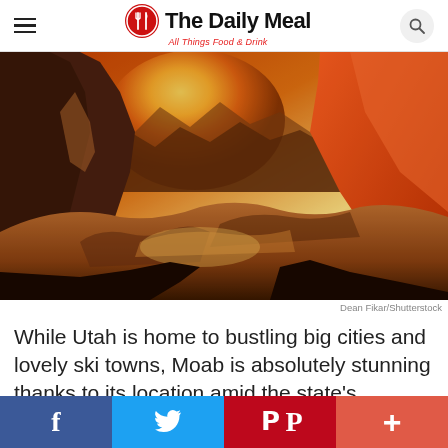The Daily Meal — All Things Food & Drink
[Figure (photo): View through a glowing red sandstone arch over dramatic red rock canyon formations at sunrise, Moab Utah area]
Dean Fikar/Shutterstock
While Utah is home to bustling big cities and lovely ski towns, Moab is absolutely stunning thanks to its location amid the state's fantastical red rock formations. The city is near both Arches National